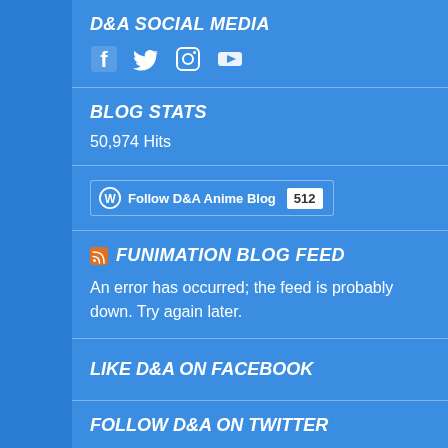D&A SOCIAL MEDIA
[Figure (infographic): Social media icons: Facebook, Twitter, Instagram, YouTube]
BLOG STATS
50,974 Hits
[Figure (infographic): WordPress Follow button: Follow D&A Anime Blog, 512 followers]
FUNIMATION BLOG FEED
An error has occurred; the feed is probably down. Try again later.
LIKE D&A ON FACEBOOK
FOLLOW D&A ON TWITTER